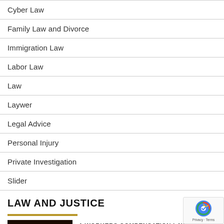Cyber Law
Family Law and Divorce
Immigration Law
Labor Law
Law
Laywer
Legal Advice
Personal Injury
Private Investigation
Slider
LAW AND JUSTICE
[Figure (photo): Worker's Compensation Claim Form document on dark background]
A WORKERS COMPENSATION LAWY... HELP DETERMINE THE VALUE OF TH... PARTY CLAIMS